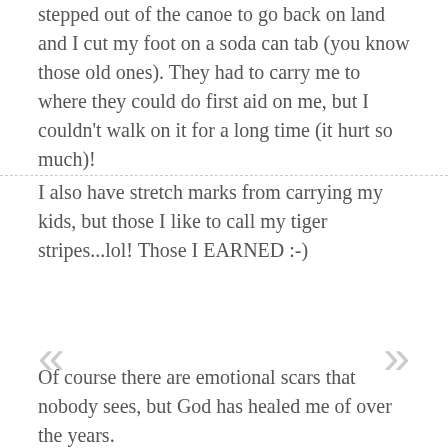stepped out of the canoe to go back on land and I cut my foot on a soda can tab (you know those old ones). They had to carry me to where they could do first aid on me, but I couldn't walk on it for a long time (it hurt so much)!
I also have stretch marks from carrying my kids, but those I like to call my tiger stripes...lol! Those I EARNED :-)
Of course there are emotional scars that nobody sees, but God has healed me of over the years.
I like to see characters in books who have hidden scars but work through them with the Lord's help & from those around them that care about them. We're